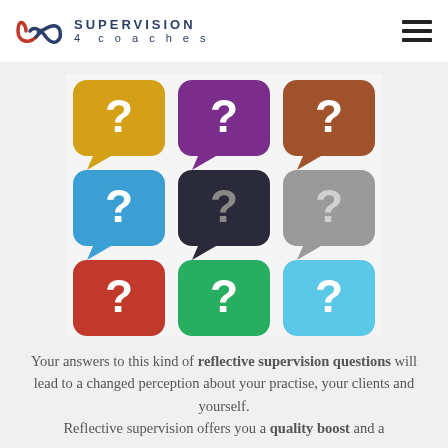SUPERVISION 4 coaches
[Figure (illustration): A 3x3 grid of colorful 3D speech bubble icons each containing a white question mark. Colors: yellow, purple, brown (top row); blue, dark/black, gray (middle row); red, green, light blue (bottom row).]
Your answers to this kind of reflective supervision questions will lead to a changed perception about your practise, your clients and yourself. Reflective supervision offers you a quality boost and a